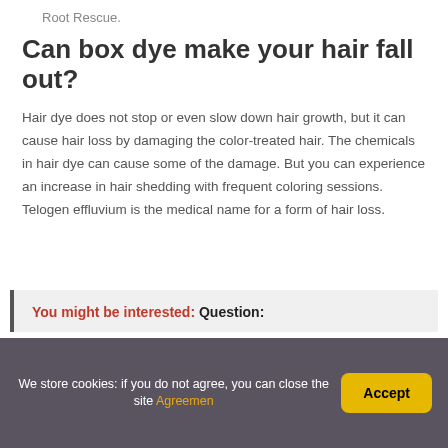Root Rescue.
Can box dye make your hair fall out?
Hair dye does not stop or even slow down hair growth, but it can cause hair loss by damaging the color-treated hair. The chemicals in hair dye can cause some of the damage. But you can experience an increase in hair shedding with frequent coloring sessions. Telogen effluvium is the medical name for a form of hair loss.
You might be interested:  Question:
We store cookies: if you do not agree, you can close the site Agreemen